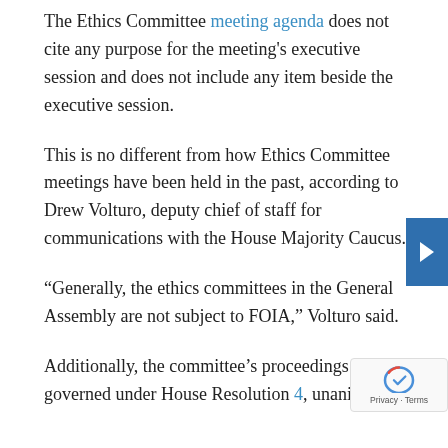The Ethics Committee meeting agenda does not cite any purpose for the meeting's executive session and does not include any item beside the executive session.
This is no different from how Ethics Committee meetings have been held in the past, according to Drew Volturo, deputy chief of staff for communications with the House Majority Caucus.
“Generally, the ethics committees in the General Assembly are not subject to FOIA,” Volturo said.
Additionally, the committee’s proceedings are governed under House Resolution 4, unanimo...